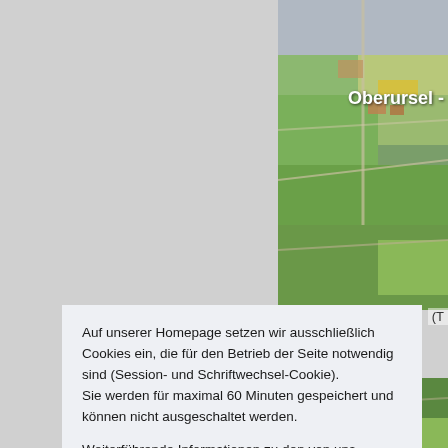[Figure (map): Aerial/satellite map showing agricultural fields and urban area near Oberursel, Germany. Green fields, yellow rapeseed patches, roads, and buildings visible. Label 'Oberursel -' shown in white text on the map.]
Auf unserer Homepage setzen wir ausschließlich Cookies ein, die für den Betrieb der Seite notwendig sind (Session- und Schriftwechsel-Cookie).
Sie werden für maximal 60 Minuten gespeichert und können nicht ausgeschaltet werden.

Weiterführende Informationen zu den von uns eingesetzten Cookies finden Sie in unserer Datenschutzerklärung.
OK